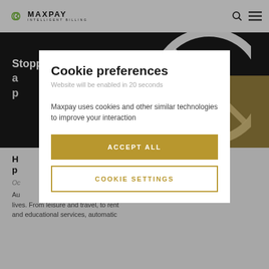MAXPAY INTELLIGENT BILLING
[Figure (screenshot): Maxpay website hero image with dark background showing partial text 'Stopping a... p...' and decorative white circle graphic]
H... p...
Oc...
Au... lives. From leisure and travel, to rent and educational services, automatic
Cookie preferences
Website will be enabled in 20 seconds
Maxpay uses cookies and other similar technologies to improve your interaction
ACCEPT ALL
COOKIE SETTINGS